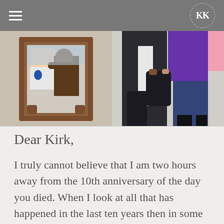KK (logo/navigation header bar)
[Figure (photo): Left photo: A person holds up a framed photograph showing two people — a young man in a white shirt and an older man smiling, with arm around the other's shoulder.]
[Figure (photo): Right photo: Close-up of people standing, showing torsos and legs — one person in a purple top, another in a dark blazer and jeans.]
Dear Kirk,
I truly cannot believe that I am two hours away from the 10th anniversary of the day you died. When I look at all that has happened in the last ten years then in some